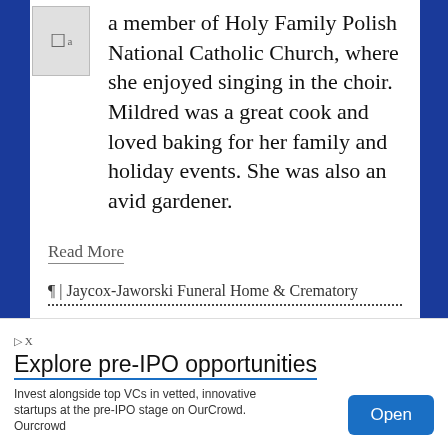a member of Holy Family Polish National Catholic Church, where she enjoyed singing in the choir. Mildred was a great cook and loved baking for her family and holiday events. She was also an avid gardener.
Read More
¶ | Jaycox-Jaworski Funeral Home & Crematory
Duane G. Junker
June 06, 2022 |
by Hunter Funeral Home | Posted in: Hunter
Explore pre-IPO opportunities
Invest alongside top VCs in vetted, innovative startups at the pre-IPO stage on OurCrowd. Ourcrowd